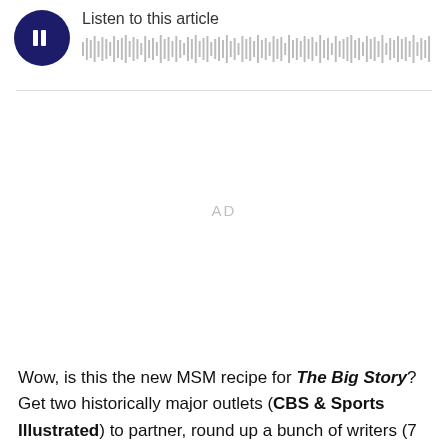[Figure (other): Audio player with dark navy circular play button showing pause bars icon, 'Listen to this article' label, and a waveform/progress bar to the right]
[Figure (other): AD placeholder area — large blank white space with centered 'AD' label in light gray]
Wow, is this the new MSM recipe for The Big Story? Get two historically major outlets (CBS & Sports Illustrated) to partner, round up a bunch of writers (7